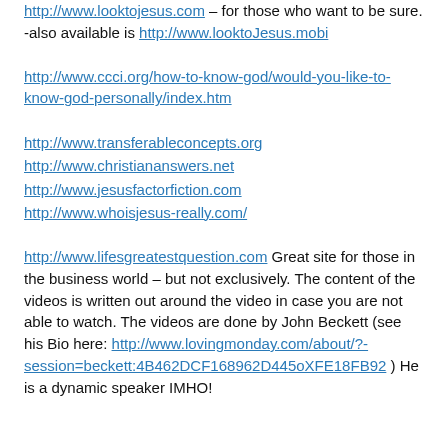http://www.looktojesus.com – for those who want to be sure. -also available is http://www.looktoJesus.mobi
http://www.ccci.org/how-to-know-god/would-you-like-to-know-god-personally/index.htm
http://www.transferableconcepts.org
http://www.christiananswers.net
http://www.jesusfactorfiction.com
http://www.whoisjesus-really.com/
http://www.lifesgreatestquestion.com Great site for those in the business world – but not exclusively. The content of the videos is written out around the video in case you are not able to watch. The videos are done by John Beckett (see his Bio here: http://www.lovingmonday.com/about/?-session=beckett:4B462DCF168962D445oXFE18FB92 ) He is a dynamic speaker IMHO!